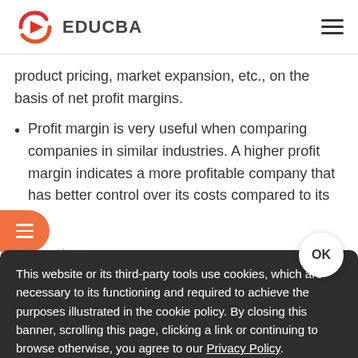EDUCBA
product pricing, market expansion, etc., on the basis of net profit margins.
Profit margin is very useful when comparing companies in similar industries. A higher profit margin indicates a more profitable company that has better control over its costs compared to its competitors.
This website or its third-party tools use cookies, which are necessary to its functioning and required to achieve the purposes illustrated in the cookie policy. By closing this banner, scrolling this page, clicking a link or continuing to browse otherwise, you agree to our Privacy Policy